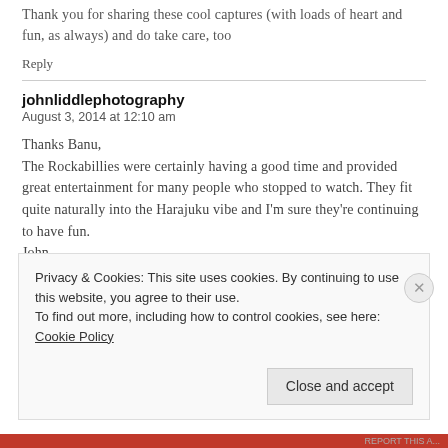Thank you for sharing these cool captures (with loads of heart and fun, as always) and do take care, too
Reply
johnliddlephotography
August 3, 2014 at 12:10 am
Thanks Banu,
The Rockabillies were certainly having a good time and provided great entertainment for many people who stopped to watch. They fit quite naturally into the Harajuku vibe and I'm sure they're continuing to have fun.
John
Privacy & Cookies: This site uses cookies. By continuing to use this website, you agree to their use.
To find out more, including how to control cookies, see here: Cookie Policy
Close and accept